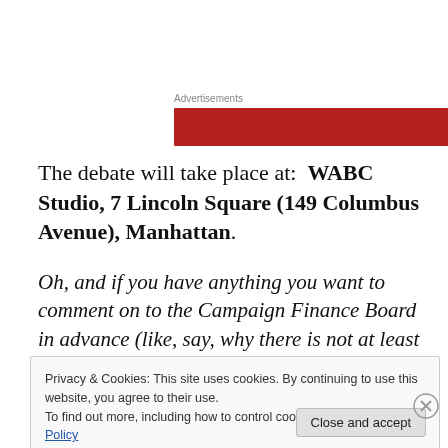Advertisements
[Figure (other): Red advertisement banner bar]
The debate will take place at:  WABC Studio, 7 Lincoln Square (149 Columbus Avenue), Manhattan.
Oh, and if you have anything you want to comment on to the Campaign Finance Board in advance (like, say, why there is not at least one woman reporter as a panelist),
Privacy & Cookies: This site uses cookies. By continuing to use this website, you agree to their use.
To find out more, including how to control cookies, see here: Cookie Policy